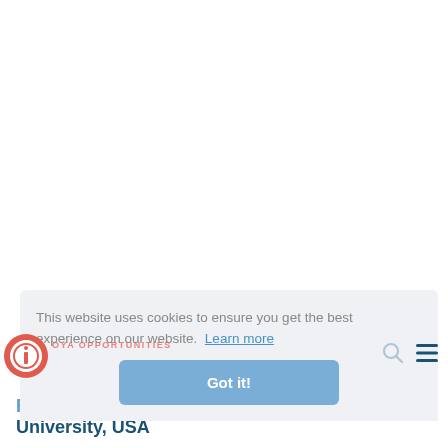[Figure (screenshot): Website screenshot showing a cookie consent banner overlay on a page for OYA Opportunities. The banner reads 'This website uses cookies to ensure you get the best experience on our website. Learn more' with a 'Got it!' button. Below the banner, partially visible text reads 'Funded Global Scholarships at Clark University, USA'. A navigation bar with logo, search icon, and hamburger menu is visible.]
This website uses cookies to ensure you get the best experience on our website.  Learn more
Got it!
Funded Global Scholarships at Clark University, USA